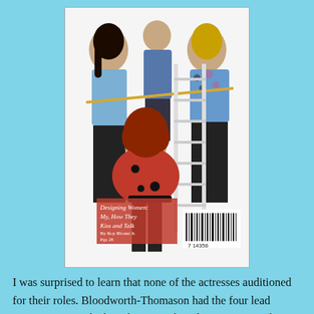[Figure (photo): Magazine cover showing four women from the TV show 'Designing Women'. One woman sits in the foreground wearing a red outfit, two women stand in the background holding a measuring tape, and one man stands behind them on a ladder. Text on the cover reads 'Designing Women: My, How They Kiss and Talk' by Roy Blount Jr. A barcode is visible at the bottom right.]
I was surprised to learn that none of the actresses auditioned for their roles. Bloodworth-Thomason had the four lead actresses in mind when she wrote the pilot. Smart was the only non-Southern native, having been raised in Seattle. Anthony was not intended to be a